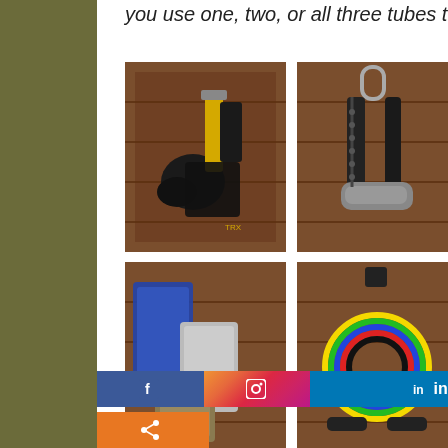you use one, two, or all three tubes to adjust the tension...which is pretty cool.
[Figure (photo): TRX suspension training straps laid out on a wooden surface]
[Figure (photo): Resistance band handle with carabiner clip on wooden surface]
[Figure (photo): Resistance bands in bags/pouches on wooden surface]
[Figure (photo): Multiple colorful resistance bands with handles and clips on wooden surface]
f | Instagram | in | Like 0 | Share 0